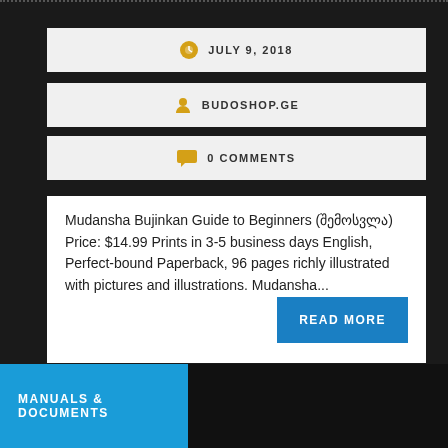JULY 9, 2018
BUDOSHOP.GE
0 COMMENTS
Mudansha Bujinkan Guide to Beginners (შემოსვლა) Price: $14.99 Prints in 3-5 business days English, Perfect-bound Paperback, 96 pages richly illustrated with pictures and illustrations. Mudansha...
READ MORE
MANUALS & DOCUMENTS